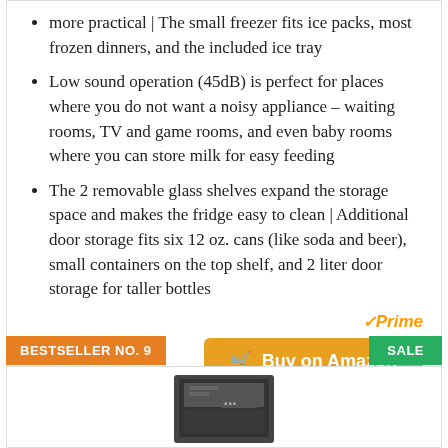more practical | The small freezer fits ice packs, most frozen dinners, and the included ice tray
Low sound operation (45dB) is perfect for places where you do not want a noisy appliance – waiting rooms, TV and game rooms, and even baby rooms where you can store milk for easy feeding
The 2 removable glass shelves expand the storage space and makes the fridge easy to clean | Additional door storage fits six 12 oz. cans (like soda and beer), small containers on the top shelf, and 2 liter door storage for taller bottles
[Figure (other): Amazon Prime logo and Buy on Amazon button]
BESTSELLER NO. 9
SALE
[Figure (photo): Product image of a mini fridge/freezer appliance]